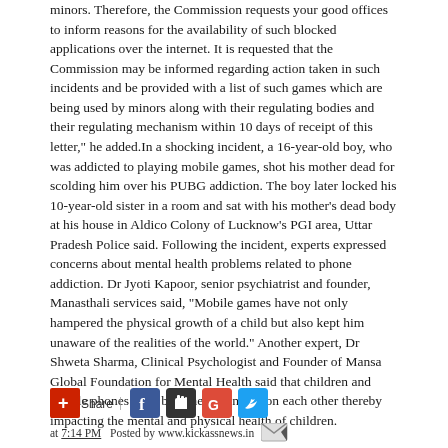minors. Therefore, the Commission requests your good offices to inform reasons for the availability of such blocked applications over the internet. It is requested that the Commission may be informed regarding action taken in such incidents and be provided with a list of such games which are being used by minors along with their regulating bodies and their regulating mechanism within 10 days of receipt of this letter," he added.In a shocking incident, a 16-year-old boy, who was addicted to playing mobile games, shot his mother dead for scolding him over his PUBG addiction. The boy later locked his 10-year-old sister in a room and sat with his mother's dead body at his house in Aldico Colony of Lucknow's PGI area, Uttar Pradesh Police said. Following the incident, experts expressed concerns about mental health problems related to phone addiction. Dr Jyoti Kapoor, senior psychiatrist and founder, Manasthali services said, "Mobile games have not only hampered the physical growth of a child but also kept him unaware of the realities of the world." Another expert, Dr Shweta Sharma, Clinical Psychologist and Founder of Mansa Global Foundation for Mental Health said that children and mobile phones have become dependent on each other thereby impacting the mental and physical health of children.
[Figure (infographic): Social share bar with red Share button, Facebook, Google+, Twitter icons]
at 7:14 PM Posted by www.kickassnews.in